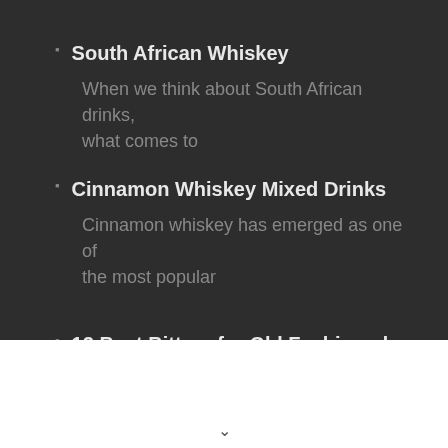South African Whiskey
When we think about South African drinks, what comes to
Cinnamon Whiskey Mixed Drinks
Cinnamon whiskey has emerged as one of the most popular
12 Best Bitters for Old Fashioned
If you are looking for Bitters to make your Old